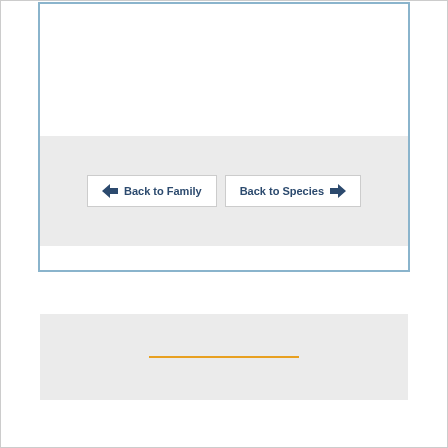[Figure (screenshot): A web page UI fragment showing a top panel with a light blue border containing a gray navigation bar with two buttons: 'Back to Family' (with left arrow) and 'Back to Species' (with right arrow). Below it is a second gray bar containing an orange horizontal line.]